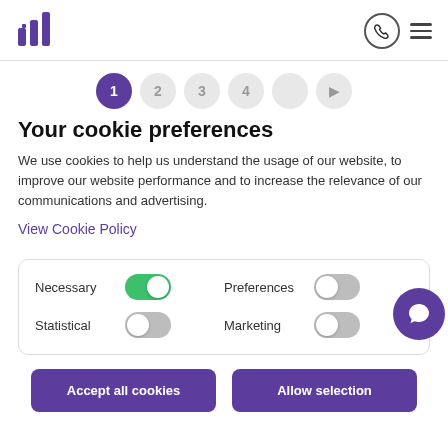Navigation header with logo, phone icon, and menu icon
[Figure (infographic): Step progress indicator with circles numbered 1 (active/purple), 2, 3, 4, and two more circles with an arrow]
Your cookie preferences
We use cookies to help us understand the usage of our website, to improve our website performance and to increase the relevance of our communications and advertising.
View Cookie Policy
[Figure (infographic): Cookie preference panel with four toggle switches: Necessary (on/green), Preferences (off/gray), Statistical (off/gray), Marketing (off/gray), with purple chat bubble icon]
Accept all cookies
Allow selection